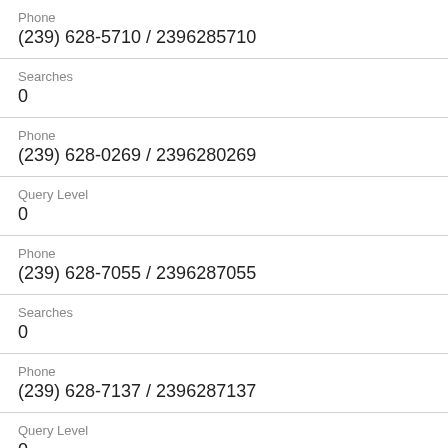Phone
(239) 628-5710 / 2396285710
Searches
0
Phone
(239) 628-0269 / 2396280269
Query Level
0
Phone
(239) 628-7055 / 2396287055
Searches
0
Phone
(239) 628-7137 / 2396287137
Query Level
0
Phone
(239) 628-1546 / 2396281546
Searches